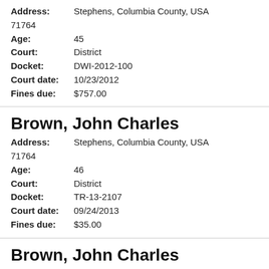Address: Stephens, Columbia County, USA 71764
Age: 45
Court: District
Docket: DWI-2012-100
Court date: 10/23/2012
Fines due: $757.00
Brown, John Charles
Address: Stephens, Columbia County, USA 71764
Age: 46
Court: District
Docket: TR-13-2107
Court date: 09/24/2013
Fines due: $35.00
Brown, John Charles
Address: Stephens, Columbia County, USA 71764
Age: 46
Court: District
Docket: TR-13-2108